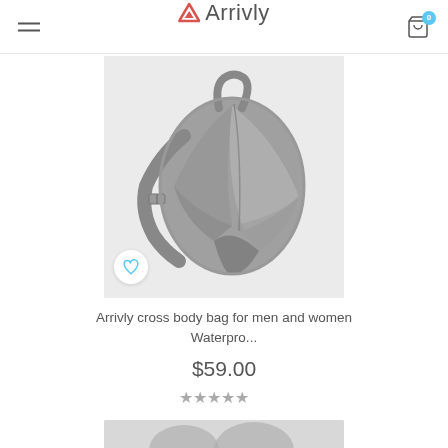Arrivly
[Figure (photo): Arrivly cross body sling bag in grey/silver with geometric faceted design, shown with strap, on white/light grey background. Heart/wishlist icon in bottom left corner.]
Arrivly cross body bag for men and women Waterpro...
$59.00
★★★★★ (star rating, all grey)
[Figure (photo): Bottom portion of next product image, partially visible.]